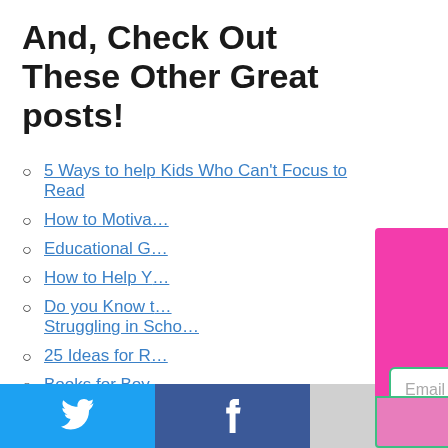And, Check Out These Other Great posts!
5 Ways to help Kids Who Can't Focus to Read
How to Motivate…
Educational G…
How to Help Y…
Do you Know t… Struggling in Scho…
25 Ideas for R…
Books for Boy… Get Them Readin…
[Figure (other): Pink popup overlay for newsletter subscription - Getting Kids to Read. Contains text: 'Getting Kids to Re...', 'Hit the subscribe button for free ebo... information on getting kids...', 'Reading-love.com', email input field, and SUBSCRIBE button.]
[Figure (other): Social share bar at bottom with Twitter (blue) and Facebook (dark blue) icons]